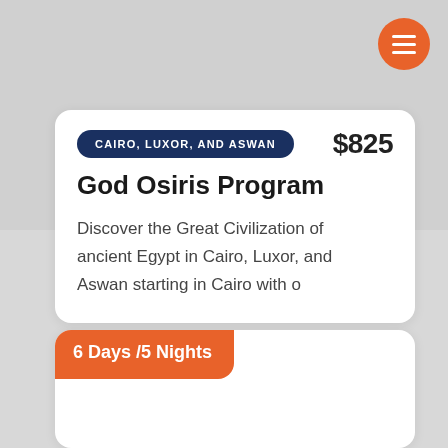CAIRO, LUXOR, AND ASWAN
$825
God Osiris Program
Discover the Great Civilization of ancient Egypt in Cairo, Luxor, and Aswan starting in Cairo with o
6 Days /5 Nights